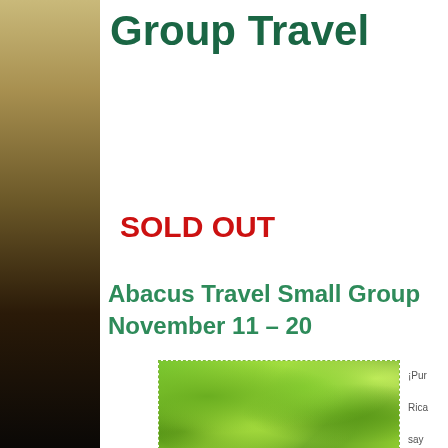[Figure (photo): Dark textured stone/wall photo used as left decorative panel, transitioning from tan/beige at top to black at bottom]
Group Travel
SOLD OUT
Abacus Travel Small Group November 11 – 20
[Figure (photo): Close-up photo of bright green tropical leaves with branches]
¡Pur Rica say